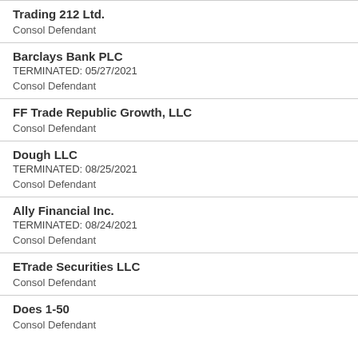Trading 212 Ltd.
Consol Defendant
Barclays Bank PLC
TERMINATED: 05/27/2021
Consol Defendant
FF Trade Republic Growth, LLC
Consol Defendant
Dough LLC
TERMINATED: 08/25/2021
Consol Defendant
Ally Financial Inc.
TERMINATED: 08/24/2021
Consol Defendant
ETrade Securities LLC
Consol Defendant
Does 1-50
Consol Defendant